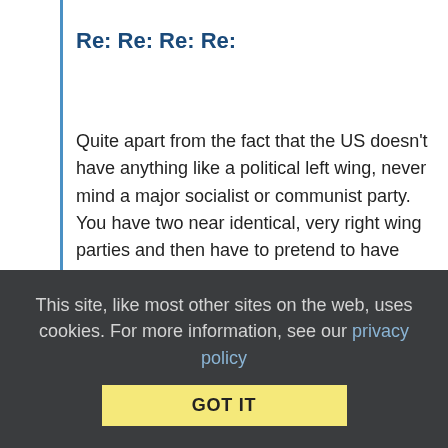Re: Re: Re: Re:
Quite apart from the fact that the US doesn't have anything like a political left wing, never mind a major socialist or communist party. You have two near identical, very right wing parties and then have to pretend to have major political differences or what would be the point in voting every 10 minutes. You'll know when you have a left wing, it won't be supported by the wealthy as both republicans and democrats are.
Collapse replies (1) | Reply | View in chronology
[Figure (infographic): Row of five action icons: lightbulb, laughing face emoji, quotation speech bubble, comment speech bubble, flag]
This site, like most other sites on the web, uses cookies. For more information, see our privacy policy  GOT IT